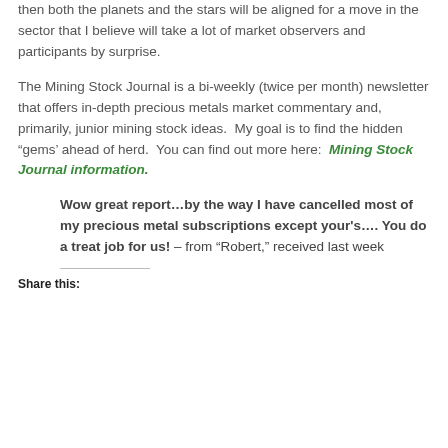then both the planets and the stars will be aligned for a move in the sector that I believe will take a lot of market observers and participants by surprise.
The Mining Stock Journal is a bi-weekly (twice per month) newsletter that offers in-depth precious metals market commentary and, primarily, junior mining stock ideas.  My goal is to find the hidden “gems’ ahead of herd.  You can find out more here:  Mining Stock Journal information.
Wow great report…by the way I have cancelled most of my precious metal subscriptions except your’s…. You do a treat job for us! – from “Robert,” received last week
Share this: